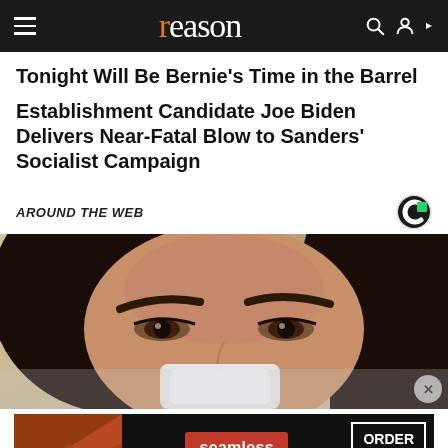reason
Tonight Will Be Bernie's Time in the Barrel
Establishment Candidate Joe Biden Delivers Near-Fatal Blow to Sanders' Socialist Campaign
AROUND THE WEB
[Figure (photo): Close-up photograph of a young woman with dark hair, looking directly at the camera, holding something white near her face]
[Figure (other): Seamless food delivery advertisement banner with pizza imagery, Seamless logo in red, and ORDER NOW button]